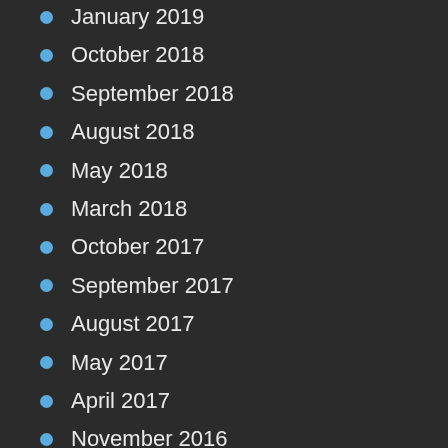January 2019
October 2018
September 2018
August 2018
May 2018
March 2018
October 2017
September 2017
August 2017
May 2017
April 2017
November 2016
August 2016
July 2016
June 2016